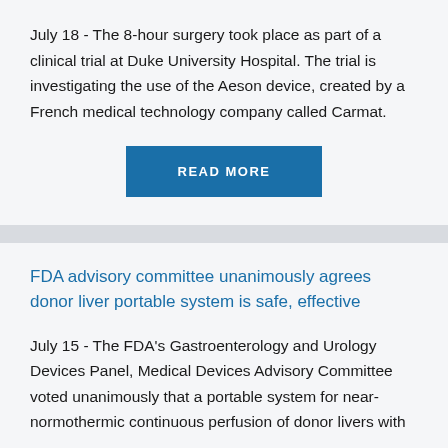July 18 - The 8-hour surgery took place as part of a clinical trial at Duke University Hospital. The trial is investigating the use of the Aeson device, created by a French medical technology company called Carmat.
[Figure (other): Blue 'READ MORE' button]
FDA advisory committee unanimously agrees donor liver portable system is safe, effective
July 15 - The FDA's Gastroenterology and Urology Devices Panel, Medical Devices Advisory Committee voted unanimously that a portable system for near-normothermic continuous perfusion of donor livers with